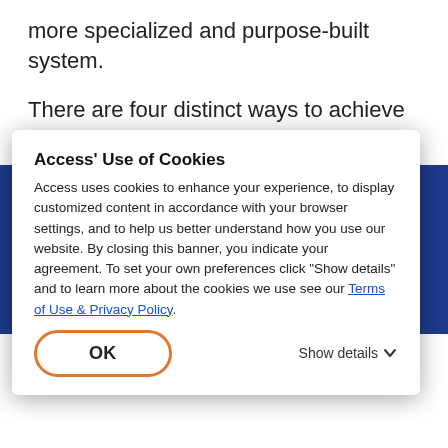more specialized and purpose-built system.
There are four distinct ways to achieve digital transformation:
1. Converting paper via scanning
2. ...digital documents are managed
The... e faci...
Day Forward Scanning
The way to increase the momentum from paper to digital, or to complete the task of going fully digital, is
[Figure (screenshot): Cookie consent modal dialog overlay. Title: Access' Use of Cookies. Body text explaining cookie use. Link: Terms of Use & Privacy Policy. OK button with orange border. Show details link with chevron.]